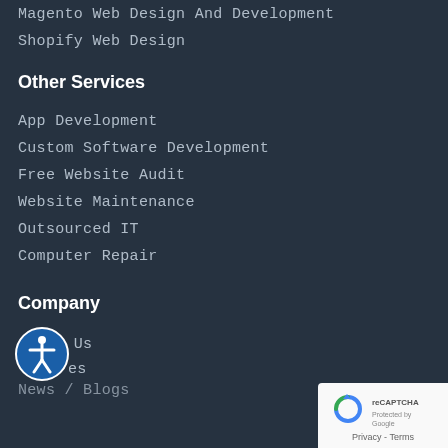Magento Web Design And Development
Shopify Web Design
Other Services
App Development
Custom Software Development
Free Website Audit
Website Maintenance
Outsourced IT
Computer Repair
Company
About Us
Services
News / Blogs
[Figure (logo): reCAPTCHA badge with Google logo and Privacy - Terms text]
[Figure (illustration): Blue circular accessibility icon with person figure]